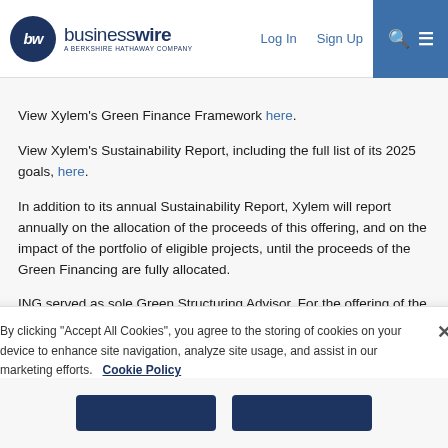businesswire — A BERKSHIRE HATHAWAY COMPANY | Log In | Sign Up
View Xylem's Green Finance Framework here.
View Xylem's Sustainability Report, including the full list of its 2025 goals, here.
In addition to its annual Sustainability Report, Xylem will report annually on the allocation of the proceeds of this offering, and on the impact of the portfolio of eligible projects, until the proceeds of the Green Financing are fully allocated.
ING served as sole Green Structuring Advisor. For the offering of the notes, BNP Paribas Securities Corp., Citigroup Global Markets
By clicking "Accept All Cookies", you agree to the storing of cookies on your device to enhance site navigation, analyze site usage, and assist in our marketing efforts.   Cookie Policy